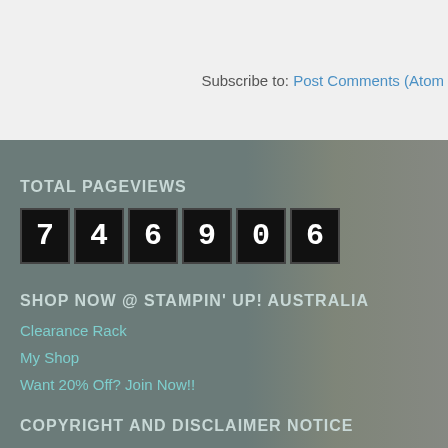Subscribe to: Post Comments (Atom)
TOTAL PAGEVIEWS
746906
SHOP NOW @ STAMPIN' UP! AUSTRALIA
Clearance Rack
My Shop
Want 20% Off? Join Now!!
COPYRIGHT AND DISCLAIMER NOTICE
All images are Copyright Stampin' Up! 1990 to current, unless oth... Independent Stampin' Up! Demonstrator & the use of & content c... Stampin' Up!